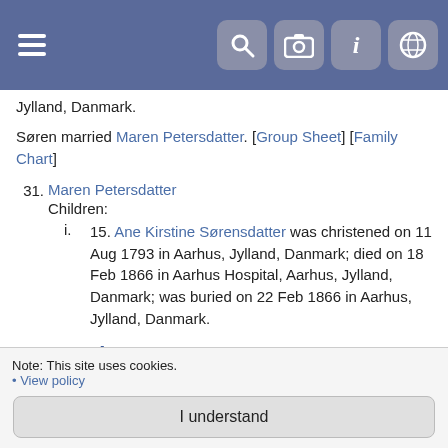Navigation header with hamburger menu and icons
Jylland, Danmark.
Søren married Maren Petersdatter. [Group Sheet] [Family Chart]
31. Maren Petersdatter
Children:
i. 15. Ane Kirstine Sørensdatter was christened on 11 Aug 1793 in Aarhus, Jylland, Danmark; died on 18 Feb 1866 in Aarhus Hospital, Aarhus, Jylland, Danmark; was buried on 22 Feb 1866 in Aarhus, Jylland, Danmark.
Generation: 6
46. Anders (Andreas) Larsen Schwane (Svane)
Anders married Sisse / Zidse / Cecilie Olsdatter. Sisse was
Note: This site uses cookies.
• View policy
I understand